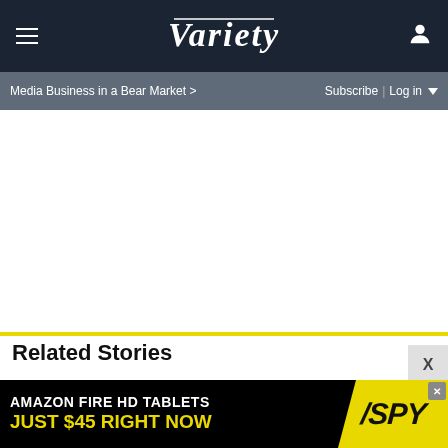VARIETY
Media Business in a Bear Market >
Subscribe | Log in
Related Stories
[Figure (infographic): Amazon Fire HD Tablets advertisement banner: 'AMAZON FIRE HD TABLETS JUST $45 RIGHT NOW' with SPY logo on yellow background]